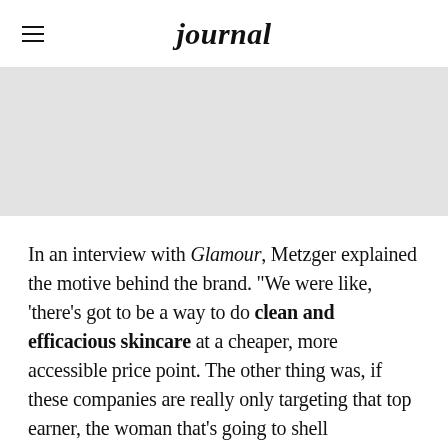journal
[Figure (photo): Gray placeholder image area below the header navigation]
In an interview with Glamour, Metzger explained the motive behind the brand. "We were like, 'there's got to be a way to do clean and efficacious skincare at a cheaper, more accessible price point. The other thing was, if these companies are really only targeting that top earner, the woman that's going to shell